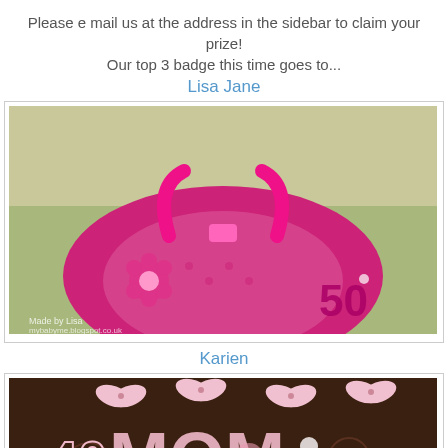Please e mail us at the address in the sidebar to claim your prize!
Our top 3 badge this time goes to...
Lisa Jane
[Figure (photo): A pink handbag shaped card/craft item decorated with a flower and the number 50, displayed outdoors with greenery in the background. Watermark reads 'Made by Lisa' with a blog URL.]
Karien
[Figure (photo): A pink and dark brown craft/card design featuring the word 'MOM' with butterfly decorations and the number 40, with floral embellishments.]